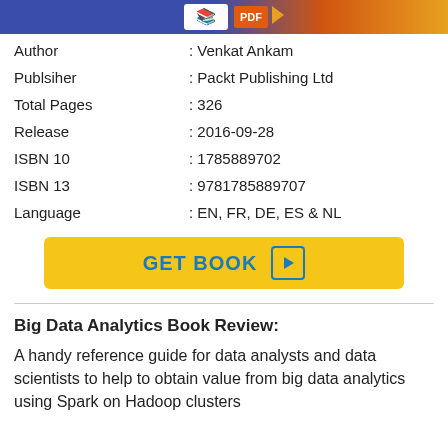[Figure (illustration): Top banner image showing book cover with blue and orange colors and book icon]
| Author | : Venkat Ankam |
| Publsiher | : Packt Publishing Ltd |
| Total Pages | : 326 |
| Release | : 2016-09-28 |
| ISBN 10 | : 1785889702 |
| ISBN 13 | : 9781785889707 |
| Language | : EN, FR, DE, ES & NL |
[Figure (other): GET BOOK button in yellow/gold with play icon]
Big Data Analytics Book Review:
A handy reference guide for data analysts and data scientists to help to obtain value from big data analytics using Spark on Hadoop clusters